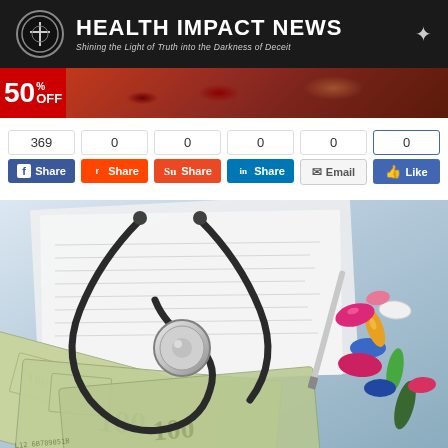[Figure (logo): Health Impact News website header banner with logo circle containing cross, site name 'HEALTH IMPACT NEWS', and tagline 'Shining the Light of Truth into the Darkness of Deceit']
[Figure (photo): Advertisement banner showing '50% OFF' on red background with meat/food images]
[Figure (infographic): Social sharing bar with counts: Facebook 369, Share 0, Share 0, LinkedIn Share 0, Email 0, Like 0]
[Figure (photo): Photo of stethoscope, medical paperwork, US dollar bills, and colorful pills/tablets representing healthcare costs]